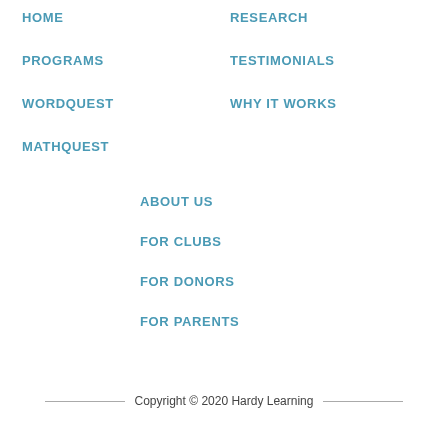HOME
RESEARCH
PROGRAMS
TESTIMONIALS
WORDQUEST
WHY IT WORKS
MATHQUEST
ABOUT US
FOR CLUBS
FOR DONORS
FOR PARENTS
Copyright © 2020 Hardy Learning